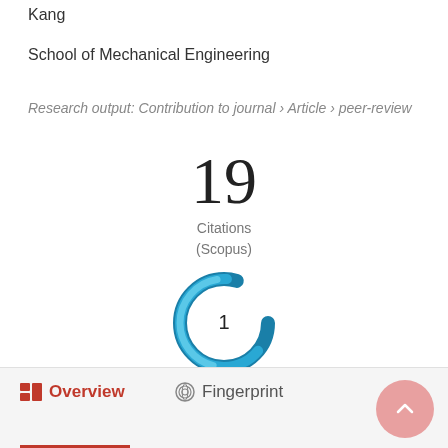Kang
School of Mechanical Engineering
Research output: Contribution to journal › Article › peer-review
[Figure (infographic): Citation count display showing '19 Citations (Scopus)']
[Figure (donut-chart): Donut chart with number '1' in the center, blue/teal colored ring]
Overview   Fingerprint